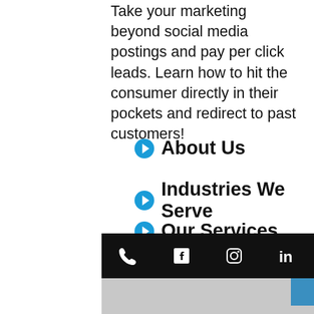Take your marketing beyond social media postings and pay per click leads. Learn how to hit the consumer directly in their pockets and redirect to past customers!
About Us
Industries We Serve
Our Services
Get In Touch
[Figure (other): Scroll-to-top button (grey square with white chevron/caret pointing up)]
[Figure (photo): Partial photo of a workspace/marketing materials at the bottom of the page, with a black social media icon bar showing phone, Facebook, Instagram, and LinkedIn icons]